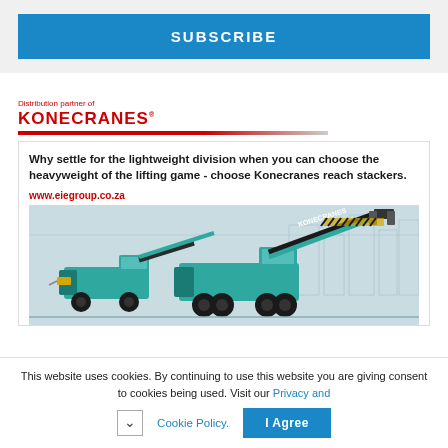SUBSCRIBE
[Figure (illustration): Konecranes distribution partner advertisement featuring two teal reach stacker vehicles with the Konecranes logo, tagline about heavyweight lifting game, and website www.eiegroup.co.za]
This website uses cookies. By continuing to use this website you are giving consent to cookies being used. Visit our Privacy and Cookie Policy.
I Agree